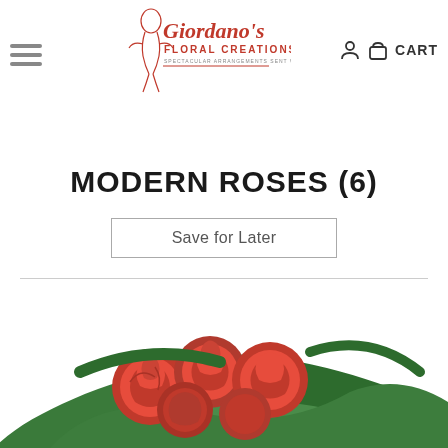[Figure (logo): Giordano's Floral Creations logo with decorative script and tagline 'Spectacular Arrangements Sent World Wide']
MODERN ROSES (6)
Save for Later
[Figure (photo): Photo of six red roses wrapped in green tropical leaves arranged in a modern style]